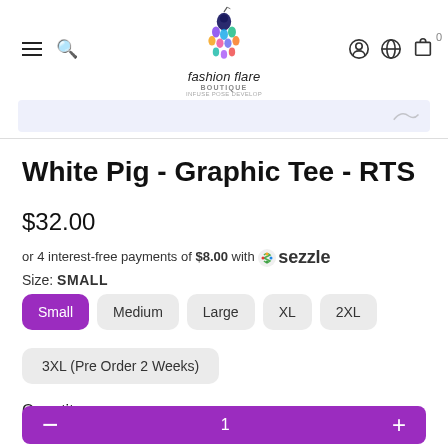fashion flare BOUTIQUE — navigation header
White Pig - Graphic Tee - RTS
$32.00
or 4 interest-free payments of $8.00 with Sezzle
Size: SMALL
Small (selected), Medium, Large, XL, 2XL
3XL (Pre Order 2 Weeks)
Quantity
1